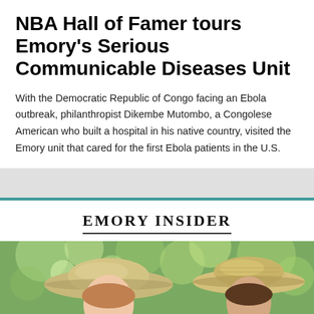NBA Hall of Famer tours Emory's Serious Communicable Diseases Unit
With the Democratic Republic of Congo facing an Ebola outbreak, philanthropist Dikembe Mutombo, a Congolese American who built a hospital in his native country, visited the Emory unit that cared for the first Ebola patients in the U.S.
EMORY INSIDER
[Figure (photo): Two people wearing straw/sun hats outdoors with blurred green foliage in background]